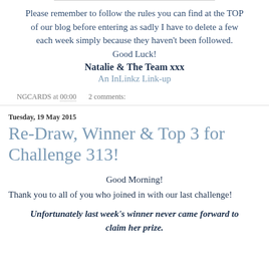Please remember to follow the rules you can find at the TOP of our blog before entering as sadly I have to delete a few each week simply because they haven't been followed. Good Luck!
Natalie & The Team xxx
An InLinkz Link-up
NGCARDS at 00:00   2 comments:
Tuesday, 19 May 2015
Re-Draw, Winner & Top 3 for Challenge 313!
Good Morning!
Thank you to all of you who joined in with our last challenge!
Unfortunately last week's winner never came forward to claim her prize.